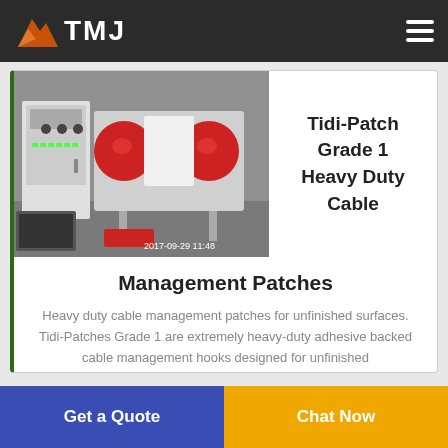TMJ
[Figure (photo): Industrial cable management machine with red and white components, electrical control panel on the left, dated 2017-09-29 11:48]
Tidi-Patch Grade 1 Heavy Duty Cable
Management Patches
Heavy duty cable management patches for unfinished surfaces. Tidi-Patches Grade 1 are extremely heavy-duty adhesive backed cable management hooks designed for unfinished
Get a Quote
Chat Now